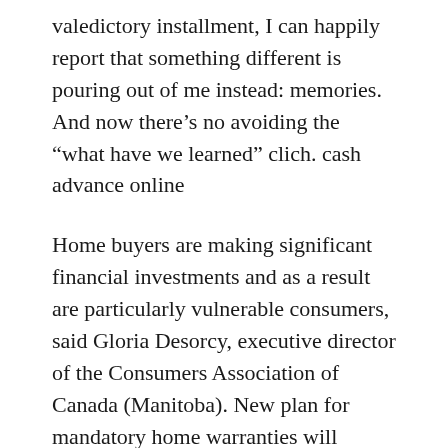valedictory installment, I can happily report that something different is pouring out of me instead: memories. And now there's no avoiding the “what have we learned” clich. cash advance online
Home buyers are making significant financial investments and as a result are particularly vulnerable consumers, said Gloria Desorcy, executive director of the Consumers Association of Canada (Manitoba). New plan for mandatory home warranties will ensure Manitobans who experience construction related problems on new homes are protected. Manitoba Home Builders Association also supports the bill..